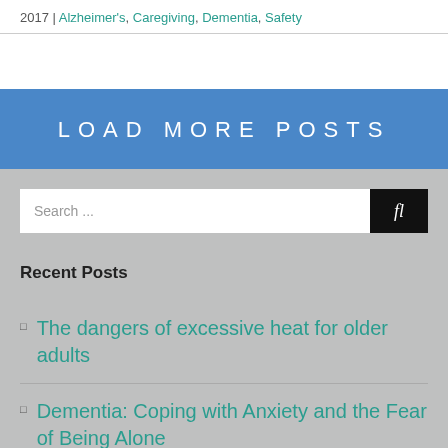2017 | Alzheimer's, Caregiving, Dementia, Safety
LOAD MORE POSTS
Search ...
Recent Posts
The dangers of excessive heat for older adults
Dementia: Coping with Anxiety and the Fear of Being Alone